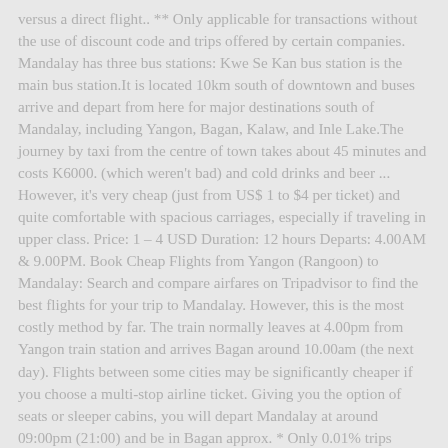versus a direct flight.. ** Only applicable for transactions without the use of discount code and trips offered by certain companies. Mandalay has three bus stations: Kwe Se Kan bus station is the main bus station.It is located 10km south of downtown and buses arrive and depart from here for major destinations south of Mandalay, including Yangon, Bagan, Kalaw, and Inle Lake.The journey by taxi from the centre of town takes about 45 minutes and costs K6000. (which weren't bad) and cold drinks and beer ... However, it's very cheap (just from US$ 1 to $4 per ticket) and quite comfortable with spacious carriages, especially if traveling in upper class. Price: 1 – 4 USD Duration: 12 hours Departs: 4.00AM & 9.00PM. Book Cheap Flights from Yangon (Rangoon) to Mandalay: Search and compare airfares on Tripadvisor to find the best flights for your trip to Mandalay. However, this is the most costly method by far. The train normally leaves at 4.00pm from Yangon train station and arrives Bagan around 10.00am (the next day). Flights between some cities may be significantly cheaper if you choose a multi-stop airline ticket. Giving you the option of seats or sleeper cabins, you will depart Mandalay at around 09:00pm (21:00) and be in Bagan approx. * Only 0.01% trips slightly higher than counter price. Starting and ending in Yangon, this classic circuit route takes you to the historic temples of